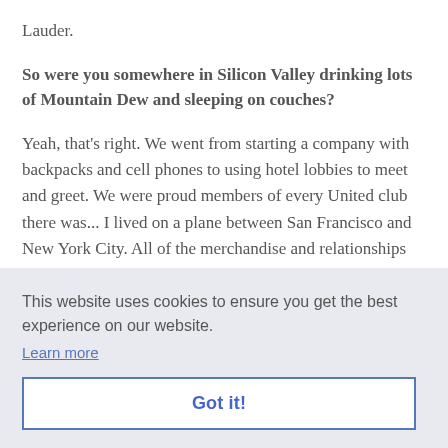Lauder.
So were you somewhere in Silicon Valley drinking lots of Mountain Dew and sleeping on couches?
Yeah, that's right. We went from starting a company with backpacks and cell phones to using hotel lobbies to meet and greet. We were proud members of every United club there was... I lived on a plane between San Francisco and New York City. All of the merchandise and relationships
und
aced
ere I
with
ars
later I was on the other side.
This website uses cookies to ensure you get the best experience on our website.
Learn more
Got it!